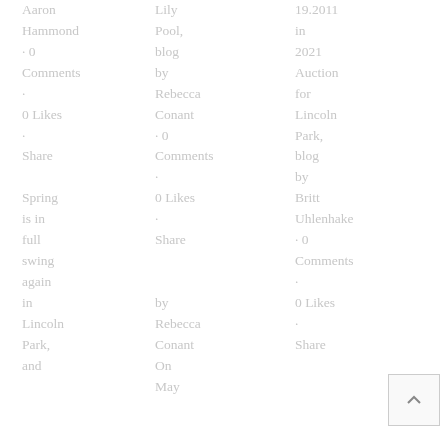Aaron Hammond · 0 Comments · 0 Likes · Share Spring is in full swing again in Lincoln Park, and
Lily Pool, blog by Rebecca Conant · 0 Comments · 0 Likes · Share by Rebecca Conant On May
19.2011 in 2021 Auction for Lincoln Park, blog by Britt Uhlenhake · 0 Comments · 0 Likes · Share